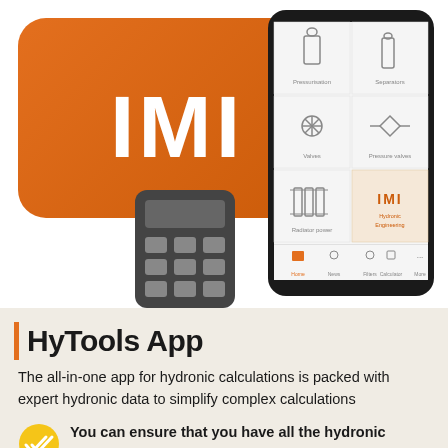[Figure (screenshot): IMI HyTools app promotional image showing the IMI orange logo, a calculator icon, and a smartphone screenshot displaying the app interface with product categories: Pressurisation, Separators, Valves, Pressure valves, Radiator power, and IMI Hydronic Engineering.]
HyTools App
The all-in-one app for hydronic calculations is packed with expert hydronic data to simplify complex calculations
You can ensure that you have all the hydronic